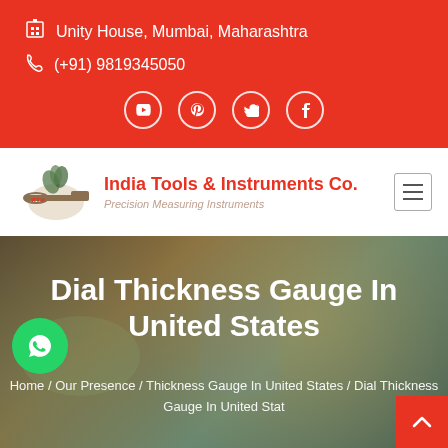Unity House, Mumbai, Maharashtra
(+91) 9819345050
[Figure (logo): India Tools & Instruments Co. logo with tagline Precision Measuring Instruments]
Dial Thickness Gauge In United States
Home / Our Presence / Thickness Gauge In United States / Dial Thickness Gauge In United States